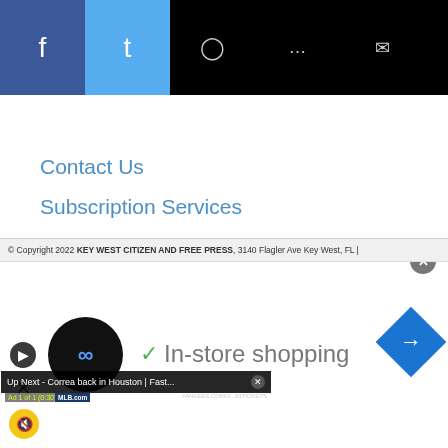[Figure (screenshot): Social sharing bar with Facebook (blue), Twitter (light blue), WhatsApp, Messenger, and Email icons on black background]
Contact Us
Subscription Services
Submission Forms
Promote Your Event
[Figure (screenshot): Embedded video player showing baseball game scene - Up Next: Correa back in Houston | Fast... with MLB.com branding, Yankees.com ticket ad, mute button, Benjamin Moore advertisement board, batter in white Yankees uniform, catcher, and player in dark Astros uniform]
© Copyright 2022 KEY WEST CITIZEN AND FREE PRESS, 3140 Flagler Ave Key West, FL |
[Figure (screenshot): Bottom advertisement banner showing In-store shopping with checkmark, circular logo, navigation arrow icon, skip and close buttons]